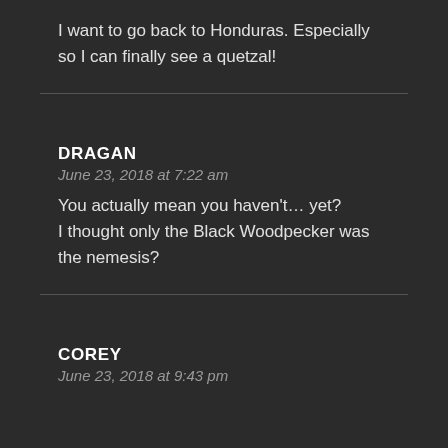I want to go back to Honduras. Especially so I can finally see a quetzal!
DRAGAN
June 23, 2018 at 7:22 am
You actually mean you haven't… yet? I thought only the Black Woodpecker was the nemesis?
COREY
June 23, 2018 at 9:43 pm